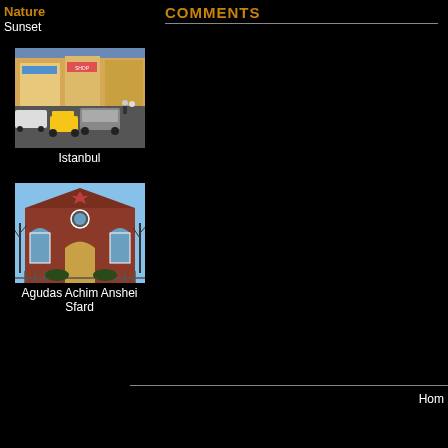Nature
Sunset
[Figure (photo): Busy Istanbul street scene with traffic, taxis, and pedestrians on a crowded urban boulevard with shops]
Istanbul
[Figure (photo): Agudas Achim Anshei Sfard synagogue building, a red brick structure with arched windows and bare trees in winter]
Agudas Achim Anshei Sfard
COMMENTS
Hom